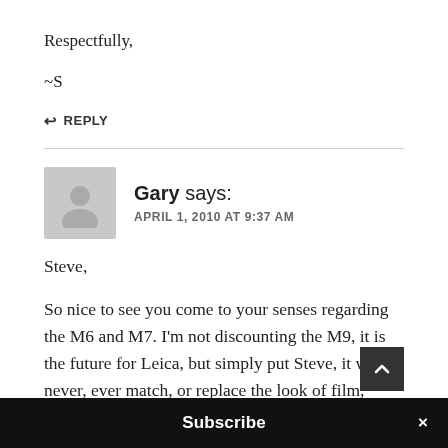Respectfully,
~S
↩ REPLY
Gary says:
APRIL 1, 2010 AT 9:37 AM
Steve,
So nice to see you come to your senses regarding the M6 and M7. I'm not discounting the M9, it is the future for Leica, but simply put Steve, it will never, ever match, or replace the look of film, never. Nowyo...
Subscribe ×